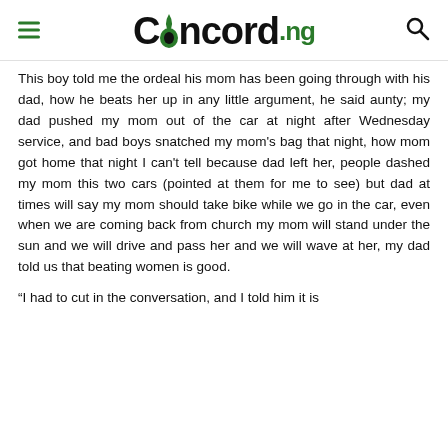Concord.ng
This boy told me the ordeal his mom has been going through with his dad, how he beats her up in any little argument, he said aunty; my dad pushed my mom out of the car at night after Wednesday service, and bad boys snatched my mom's bag that night, how mom got home that night I can't tell because dad left her, people dashed my mom this two cars (pointed at them for me to see) but dad at times will say my mom should take bike while we go in the car, even when we are coming back from church my mom will stand under the sun and we will drive and pass her and we will wave at her, my dad told us that beating women is good.
“I had to cut in the conversation, and I told him it is